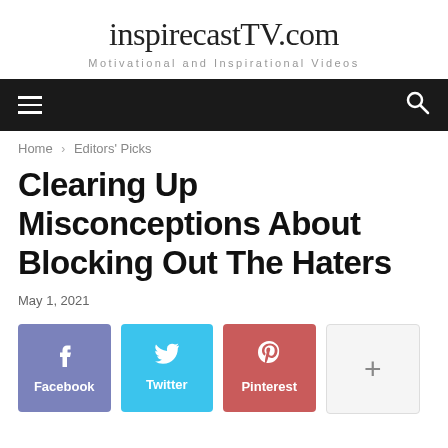inspirecastTV.com
Motivational and Inspirational Videos
[Figure (screenshot): Navigation bar with hamburger menu icon on left and search icon on right, dark background]
Home › Editors' Picks
Clearing Up Misconceptions About Blocking Out The Haters
May 1, 2021
[Figure (infographic): Social share buttons: Facebook (blue-purple), Twitter (light blue), Pinterest (red), and a + More button (light gray)]